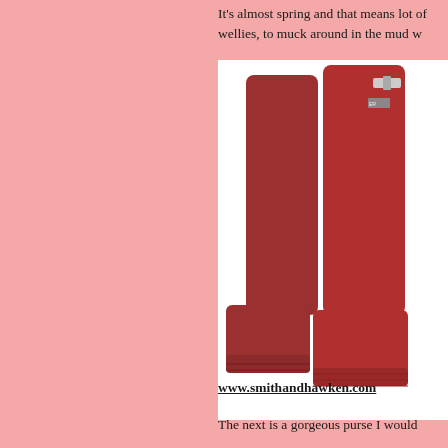It's almost spring and that means lots of wellies, to muck around in the mud w
[Figure (photo): A pair of red rubber Hunter wellington boots on a white background, shown from the side]
www.smithandhawken.com
The next is a gorgeous purse I would